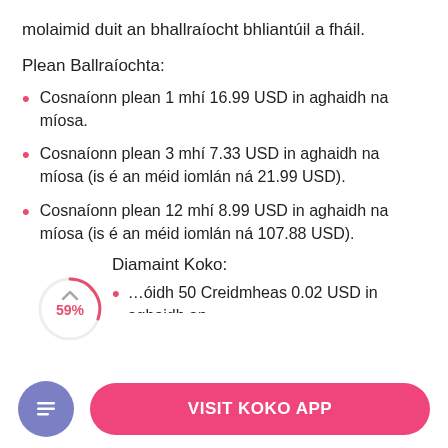molaimid duit an bhallraíocht bhliantúil a fháil.
Plean Ballraíochta:
Cosnaíonn plean 1 mhí 16.99 USD in aghaidh na míosa.
Cosnaíonn plean 3 mhí 7.33 USD in aghaidh na míosa (is é an méid iomlán ná 21.99 USD).
Cosnaíonn plean 12 mhí 8.99 USD in aghaidh na míosa (is é an méid iomlán ná 107.88 USD).
Diamaint Koko:
…óidh 50 Creidmheas 0.02 USD in aghaidh an chreidmheasa duit.
VISIT KOKO APP